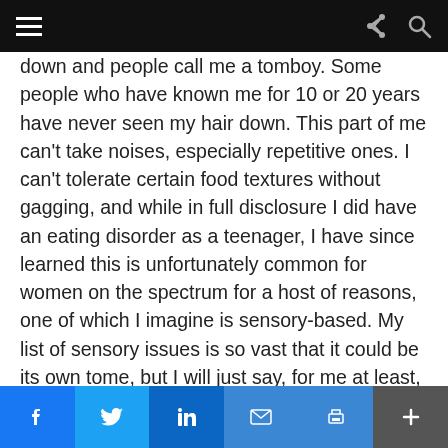Navigation header bar with hamburger menu, share icon, and search icon
down and people call me a tomboy. Some people who have known me for 10 or 20 years have never seen my hair down. This part of me can’t take noises, especially repetitive ones. I can’t tolerate certain food textures without gagging, and while in full disclosure I did have an eating disorder as a teenager, I have since learned this is unfortunately common for women on the spectrum for a host of reasons, one of which I imagine is sensory-based. My list of sensory issues is so vast that it could be its own tome, but I will just say, for me at least, it is the most difficult part of my autism.
In addition to affecting the five senses everyone knows about, autism also impacts proprioception,
Social share bar: Facebook, Twitter, LinkedIn, Email, Print, More